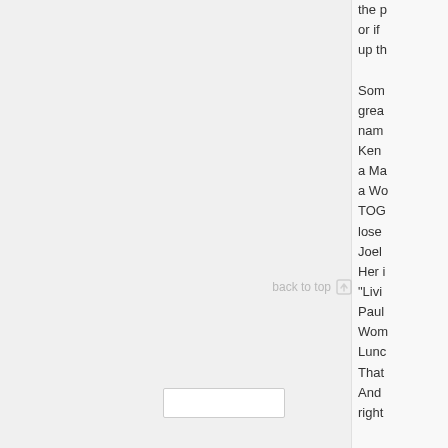the p or if up th Som grea nam Ken a Ma a Wo TOG lose Joel Her i "Livi Paul Wom Lunc That And right
back to top